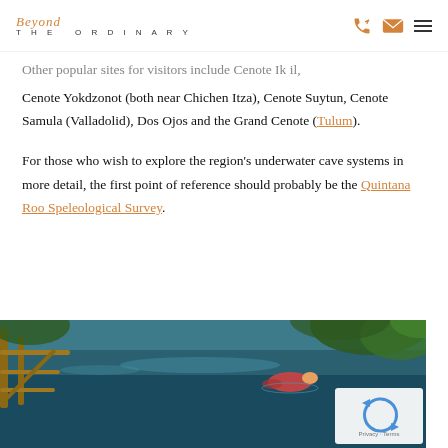Beyond THE ORDINARY
Other popular sites for visitors include Cenote Ik il, Cenote Yokdzonot (both near Chichen Itza), Cenote Suytun, Cenote Samula (Valladolid), Dos Ojos and the Grand Cenote (Tulum).
For those who wish to explore the region's underwater cave systems in more detail, the first point of reference should probably be the Quintana Roo Speleological Survey.
[Figure (photo): A person swimming or floating in a cenote with blue water, wooden railing visible on the left, surrounded by lush green vegetation.]